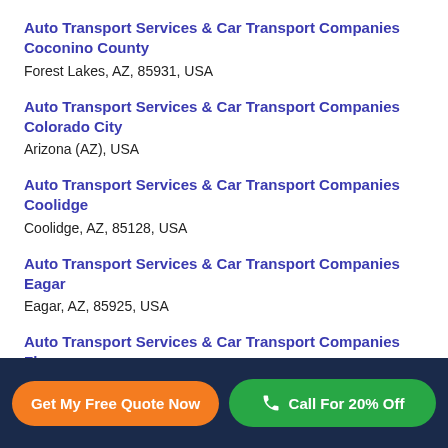Auto Transport Services & Car Transport Companies Coconino County
Forest Lakes, AZ, 85931, USA
Auto Transport Services & Car Transport Companies Colorado City
Arizona (AZ), USA
Auto Transport Services & Car Transport Companies Coolidge
Coolidge, AZ, 85128, USA
Auto Transport Services & Car Transport Companies Eagar
Eagar, AZ, 85925, USA
Auto Transport Services & Car Transport Companies Florence
Florence, AZ, 85132, USA
Get My Free Quote Now | Call For 20% Off